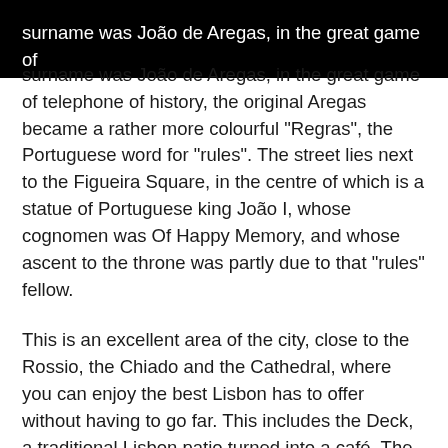surname was João de Aregas, in the great game of telephone of history, the original Aregas became a rather more colourful “Regras”, the Portuguese word for “rules”. The street lies next to the Figueira Square, in the centre of which is a statue of Portuguese king João I, whose cognomen was Of Happy Memory, and whose ascent to the throne was partly due to that “rules” fellow.
This is an excellent area of the city, close to the Rossio, the Chiado and the Cathedral, where you can enjoy the best Lisbon has to offer without having to go far. This includes the Deck, a traditional Lisbon patio turned into a café. The Portugal Boutique Hotel also offers other quality alternatives, including access to the bar and two